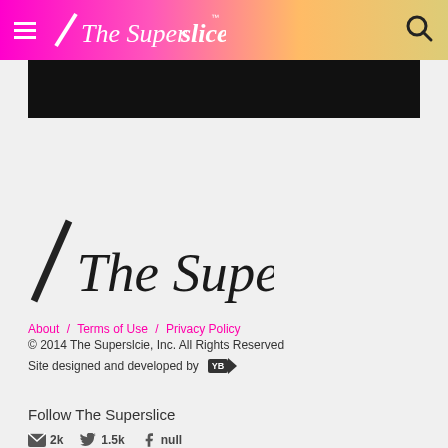The Superslice
[Figure (screenshot): Black banner image below header navigation]
[Figure (logo): The Superslice logo with diagonal slash mark and italic text]
About / Terms of Use / Privacy Policy
© 2014 The Superslcie, Inc. All Rights Reserved
Site designed and developed by [YB logo]
Follow The Superslice
2k  1.5k  null